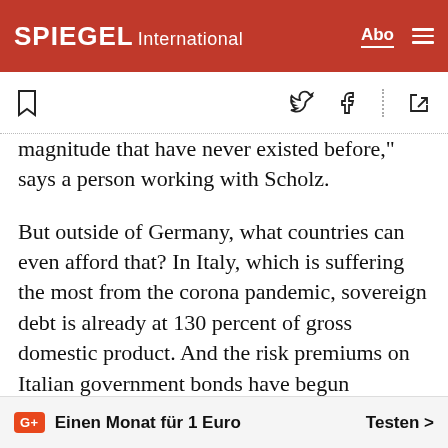SPIEGEL International
magnitude that have never existed before," says a person working with Scholz.
But outside of Germany, what countries can even afford that? In Italy, which is suffering the most from the corona pandemic, sovereign debt is already at 130 percent of gross domestic product. And the risk premiums on Italian government bonds have begun increasing on financial markets.
Before the latest bailout package, the ECB made clear that it wouldn't staˆ  y and watch as the
G+ Einen Monat für 1 Euro  Testen >